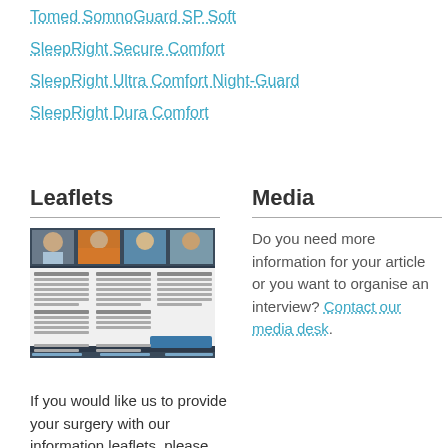Tomed SomnoGuard SP Soft
SleepRight Secure Comfort
SleepRight Ultra Comfort Night-Guard
SleepRight Dura Comfort
Leaflets
[Figure (photo): A leaflet/brochure showing multiple photographs of people and informational text content arranged in a multi-column layout]
If you would like us to provide your surgery with our information leaflets, please
Media
Do you need more information for your article or you want to organise an interview? Contact our media desk.